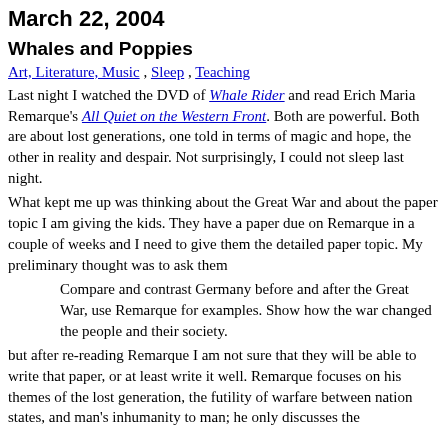March 22, 2004
Whales and Poppies
Art, Literature, Music , Sleep , Teaching
Last night I watched the DVD of Whale Rider and read Erich Maria Remarque's All Quiet on the Western Front. Both are powerful. Both are about lost generations, one told in terms of magic and hope, the other in reality and despair. Not surprisingly, I could not sleep last night.
What kept me up was thinking about the Great War and about the paper topic I am giving the kids. They have a paper due on Remarque in a couple of weeks and I need to give them the detailed paper topic. My preliminary thought was to ask them
Compare and contrast Germany before and after the Great War, use Remarque for examples. Show how the war changed the people and their society.
but after re-reading Remarque I am not sure that they will be able to write that paper, or at least write it well. Remarque focuses on his themes of the lost generation, the futility of warfare between nation states, and man's inhumanity to man; he only discusses the